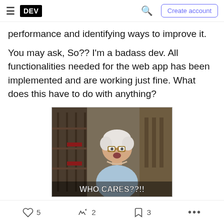DEV | Create account
performance and identifying ways to improve it.
You may ask, So?? I'm a badass dev. All functionalities needed for the web app has been implemented and are working just fine. What does this have to do with anything?
[Figure (photo): A meme showing an elderly woman with white hair and glasses with a surprised/shocked expression, with the caption 'WHO CARES??!!' overlaid at the bottom. The background shows what appears to be a store or shop interior.]
5  2  3  ...